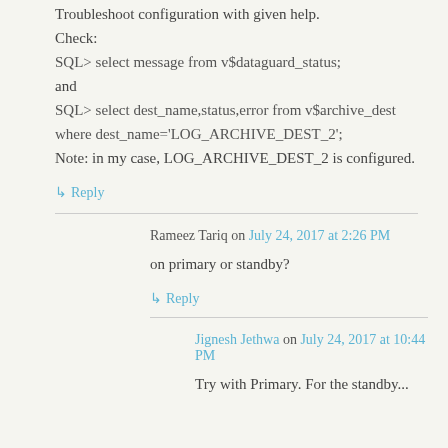Troubleshoot configuration with given help.
Check:
SQL> select message from v$dataguard_status;
and
SQL> select dest_name,status,error from v$archive_dest where dest_name='LOG_ARCHIVE_DEST_2';
Note: in my case, LOG_ARCHIVE_DEST_2 is configured.
↳ Reply
Rameez Tariq on July 24, 2017 at 2:26 PM
on primary or standby?
↳ Reply
Jignesh Jethwa on July 24, 2017 at 10:44 PM
Try with Primary. For the standby...